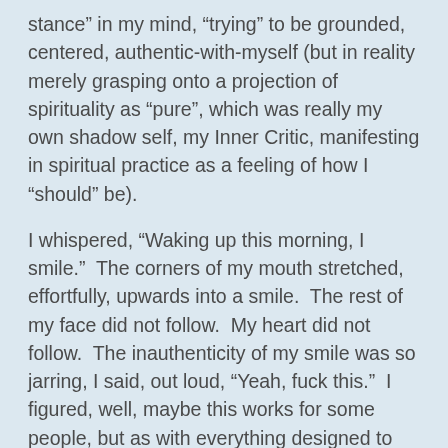stance” in my mind, “trying” to be grounded, centered, authentic-with-myself (but in reality merely grasping onto a projection of spirituality as “pure”, which was really my own shadow self, my Inner Critic, manifesting in spiritual practice as a feeling of how I “should” be).
I whispered, “Waking up this morning, I smile.”  The corners of my mouth stretched, effortfully, upwards into a smile.  The rest of my face did not follow.  My heart did not follow.  The inauthenticity of my smile was so jarring, I said, out loud, “Yeah, fuck this.”  I figured, well, maybe this works for some people, but as with everything designed to make people well, “not for me”.  And that was the end of my mantra practice.
For a couple of years.  Now and again, in fits and starts of inspiration, I would try again, following Rumi’s wonderful advice: